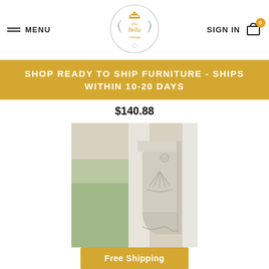MENU | The Bella Cottage | SIGN IN | Cart (0)
SHOP READY TO SHIP FURNITURE - SHIPS WITHIN 10-20 DAYS
$140.88
[Figure (photo): Old Town Store Corbel - an ornate white corbel bracket with fan/shell motif, distressed finish, mounted on white wall with garden background]
Old Town Store Corbel
$220.00
Free Shipping